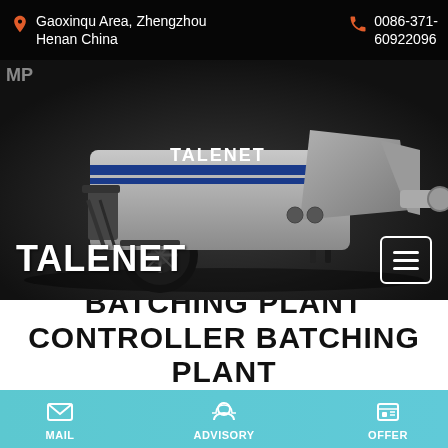Gaoxinqu Area, Zhengzhou Henan China | 0086-371-60922096
[Figure (photo): Talenet branded concrete trailer pump / batching plant equipment - gray industrial machine with wheels and hopper on dark background]
TALENET
BATCHING PLANT CONTROLLER BATCHING PLANT CONTROLLERPRODUCTS
MAIL | ADVISORY | OFFER